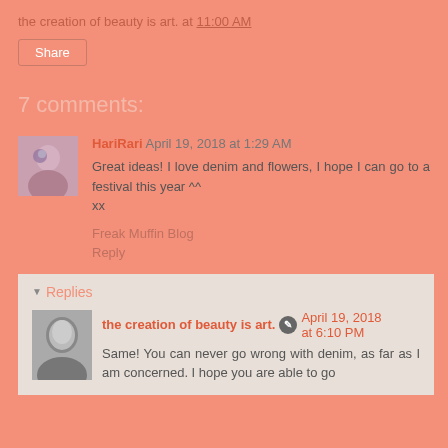the creation of beauty is art. at 11:00 AM
Share
7 comments:
HariRari April 19, 2018 at 1:29 AM
Great ideas! I love denim and flowers, I hope I can go to a festival this year ^^
xx
Freak Muffin Blog
Reply
Replies
the creation of beauty is art. April 19, 2018 at 6:10 PM
Same! You can never go wrong with denim, as far as I am concerned. I hope you are able to go